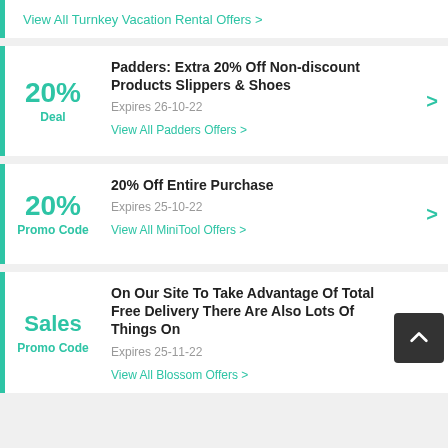View All Turnkey Vacation Rental Offers >
20% Deal | Padders: Extra 20% Off Non-discount Products Slippers & Shoes | Expires 26-10-22 | View All Padders Offers >
20% Promo Code | 20% Off Entire Purchase | Expires 25-10-22 | View All MiniTool Offers >
Sales Promo Code | On Our Site To Take Advantage Of Total Free Delivery There Are Also Lots Of Things On | Expires 25-11-22 | View All Blossom Offers >